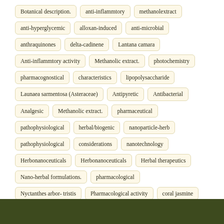Botanical description.
anti-inflammtory
methanolextract
anti-hyperglycemic
alloxan-induced
anti-microbial
anthraquinones
delta-cadinene
Lantana camara
Anti-inflammtory activity
Methanolic extract.
photochemistry
pharmacognostical
characteristics
lipopolysaccharide
Launaea sarmentosa (Asteraceae)
Antipyretic
Antibacterial
Analgesic
Methanolic extract.
pharmaceutical
pathophysiological
herbal/biogenic
nanoparticle-herb
pathophysiological
considerations
nanotechnology
Herbonanoceuticals
Herbonanoceuticals
Herbal therapeutics
Nano-herbal formulations.
pharmacological
Nyctanthes arbor- tristis
Pharmacological activity
coral jasmine
Phytochemocal content
Anti-oxidant activity.